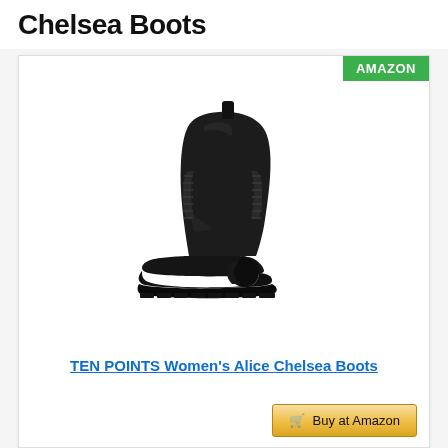Chelsea Boots
[Figure (photo): Black women's chelsea boot with chunky lug sole and elastic side panel, photographed on white background. Product by TEN POINTS, model Alice Chelsea Boots.]
TEN POINTS Women's Alice Chelsea Boots
Buy at Amazon